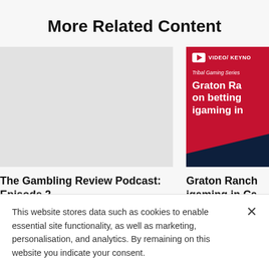More Related Content
[Figure (photo): Blank light grey thumbnail image placeholder for The Gambling Review Podcast Episode 2]
[Figure (photo): Red card thumbnail with video/keynote badge, Tribal Gaming Series label, and text 'Graton Ranch on betting igaming in Ca...' with navy corner accent]
The Gambling Review Podcast: Episode 2
Graton Ranch igaming in Ca...
This website stores data such as cookies to enable essential site functionality, as well as marketing, personalisation, and analytics. By remaining on this website you indicate your consent.